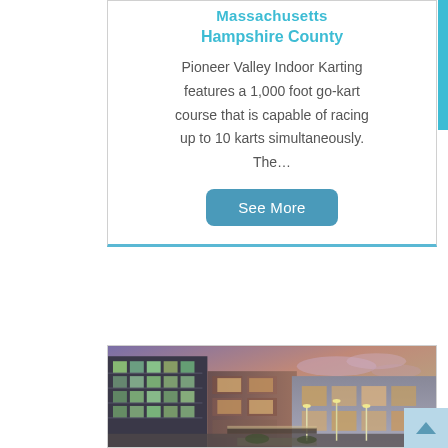Massachusetts
Hampshire County
Pioneer Valley Indoor Karting features a 1,000 foot go-kart course that is capable of racing up to 10 karts simultaneously. The…
See More
[Figure (photo): Exterior photograph of a modern building at dusk with brick facade, large windows with colorful interior lighting, and light poles illuminated in the foreground, set against a dramatic purple-pink sky.]